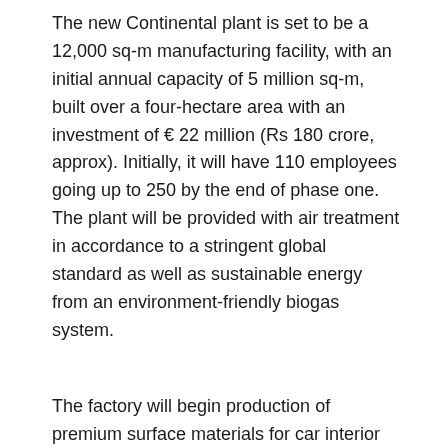The new Continental plant is set to be a 12,000 sq-m manufacturing facility, with an initial annual capacity of 5 million sq-m, built over a four-hectare area with an investment of € 22 million (Rs 180 crore, approx). Initially, it will have 110 employees going up to 250 by the end of phase one. The plant will be provided with air treatment in accordance to a stringent global standard as well as sustainable energy from an environment-friendly biogas system.
The factory will begin production of premium surface materials for car interior elements such as seat-backs, head-rests, sun-visors, centre consoles, dashboards, door panels and so on. Continental will supply surface materials to the local market – with clients ranging from Tata Motors to BMW – from the new plant. It presently supplies India's largest five carmakers as well as one of the largest two-wheeler makers. Of the many varieties of materials in their portfolio, Continental will produce Acella